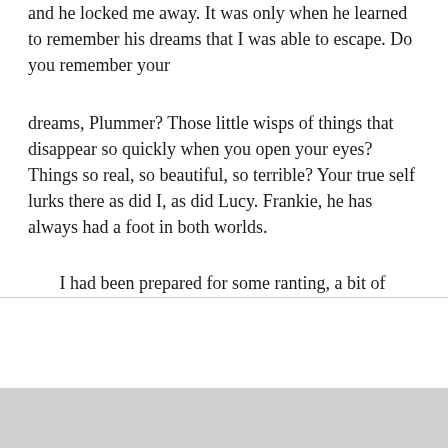and he locked me away. It was only when he learned to remember his dreams that I was able to escape. Do you remember your
dreams, Plummer? Those little wisps of things that disappear so quickly when you open your eyes? Things so real, so beautiful, so terrible? Your true self lurks there as did I, as did Lucy. Frankie, he has always had a foot in both worlds.
I had been prepared for some ranting, a bit of posturing, a few off-the-wall theories about existentialism or synchronicity or some other crap that Gelb liked to spout but what he had just said to me had left me thoroughly unnerved. All I wanted to do was leave. I think he sensed my discomfort.